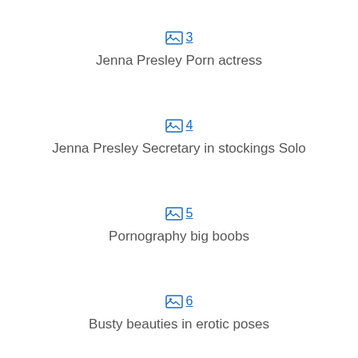3 Jenna Presley Porn actress
4 Jenna Presley Secretary in stockings Solo
5 Pornography big boobs
6 Busty beauties in erotic poses